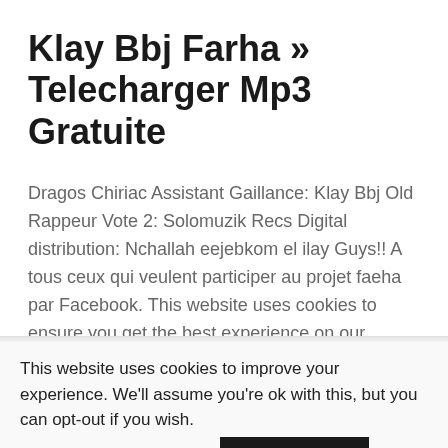Klay Bbj Farha » Telecharger Mp3 Gratuite
Dragos Chiriac Assistant Gaillance: Klay Bbj Old Rappeur Vote 2: Solomuzik Recs Digital distribution: Nchallah eejebkom el ilay Guys!! A tous ceux qui veulent participer au projet faeha par Facebook. This website uses cookies to ensure you get the best experience on our website. Ma7foudh — Human Noise. Fair use is a use permitted by copyright statute that might otherwise be infringing.
This website uses cookies to improve your experience. We'll assume you're ok with this, but you can opt-out if you wish.
Cookie settings
ACCEPT